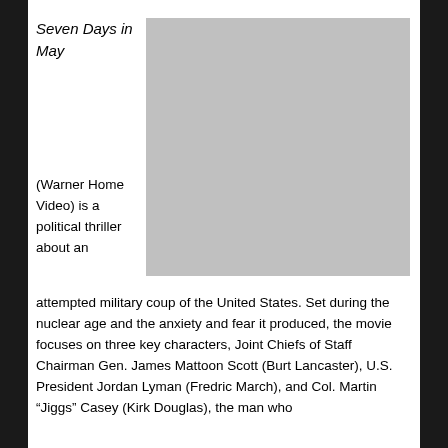Seven Days in May
(Warner Home Video) is a political thriller about an
[Figure (photo): Gray placeholder image for the movie Seven Days in May]
attempted military coup of the United States. Set during the nuclear age and the anxiety and fear it produced, the movie focuses on three key characters, Joint Chiefs of Staff Chairman Gen. James Mattoon Scott (Burt Lancaster), U.S. President Jordan Lyman (Fredric March), and Col. Martin “Jiggs” Casey (Kirk Douglas), the man who